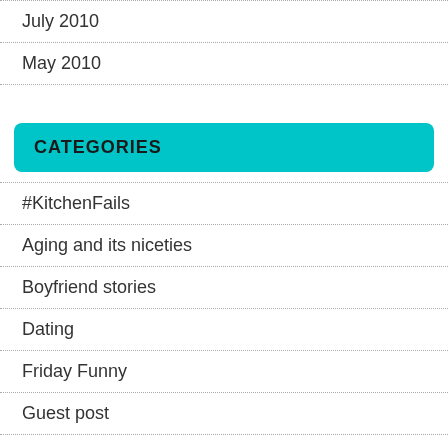July 2010
May 2010
CATEGORIES
#KitchenFails
Aging and its niceties
Boyfriend stories
Dating
Friday Funny
Guest post
Hamster Ramblings